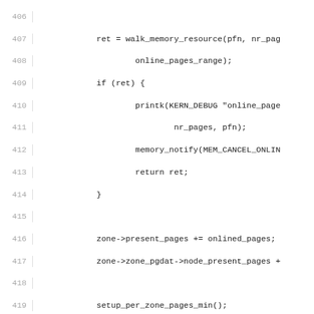[Figure (screenshot): Source code listing (C language) showing lines 406-435 of a Linux kernel memory hotplug file, with line numbers on the left in gray and code on the right in monospace font.]